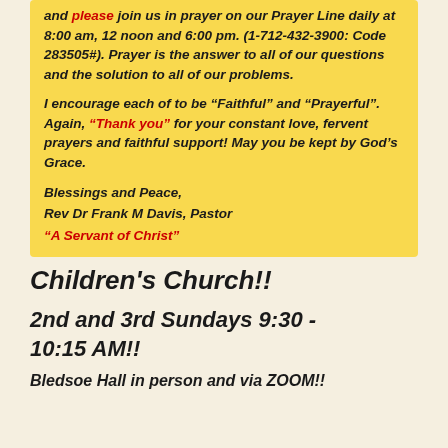and please join us in prayer on our Prayer Line daily at 8:00 am, 12 noon and 6:00 pm. (1-712-432-3900: Code 283505#). Prayer is the answer to all of our questions and the solution to all of our problems.
I encourage each of to be “Faithful” and “Prayerful”.  Again, “Thank you” for your constant love, fervent prayers and faithful support!  May you be kept by God’s Grace.
Blessings and Peace,
Rev Dr Frank M Davis, Pastor
“A Servant of Christ”
Children's Church!!
2nd and 3rd Sundays 9:30 - 10:15 AM!!
Bledsoe Hall in person and via ZOOM!!